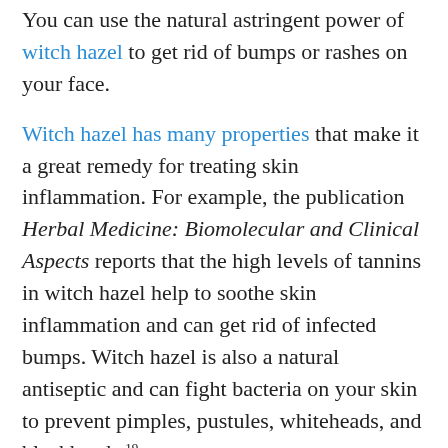You can use the natural astringent power of witch hazel to get rid of bumps or rashes on your face.
Witch hazel has many properties that make it a great remedy for treating skin inflammation. For example, the publication Herbal Medicine: Biomolecular and Clinical Aspects reports that the high levels of tannins in witch hazel help to soothe skin inflammation and can get rid of infected bumps. Witch hazel is also a natural antiseptic and can fight bacteria on your skin to prevent pimples, pustules, whiteheads, and blackheads.19
How to use witch hazel: